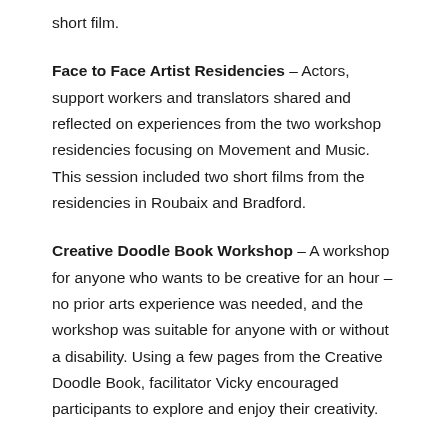short film.
Face to Face Artist Residencies – Actors, support workers and translators shared and reflected on experiences from the two workshop residencies focusing on Movement and Music. This session included two short films from the residencies in Roubaix and Bradford.
Creative Doodle Book Workshop – A workshop for anyone who wants to be creative for an hour – no prior arts experience was needed, and the workshop was suitable for anyone with or without a disability. Using a few pages from the Creative Doodle Book, facilitator Vicky encouraged participants to explore and enjoy their creativity.